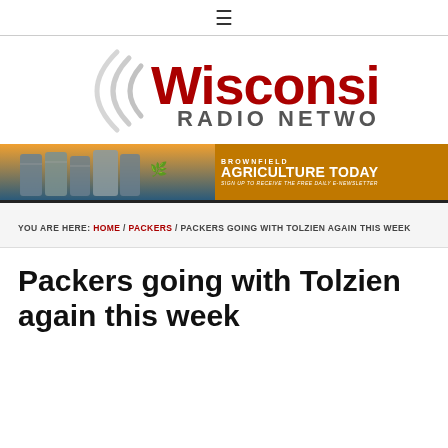≡
[Figure (logo): Wisconsin Radio Network logo with radio wave graphic in gray and red text]
[Figure (infographic): Brownfield Agriculture Today banner ad - sign up to receive the free daily e-newsletter]
YOU ARE HERE: HOME / PACKERS / PACKERS GOING WITH TOLZIEN AGAIN THIS WEEK
Packers going with Tolzien again this week